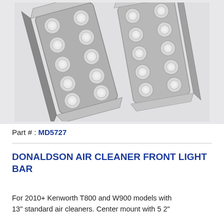[Figure (photo): Two chrome/silver LED light bar modules with circular LED lenses arranged in a 2x5 grid pattern, photographed at an angle on a light gray background. The bars appear to be Donaldson air cleaner front light bars.]
Part # : MD5727
DONALDSON AIR CLEANER FRONT LIGHT BAR
For 2010+ Kenworth T800 and W900 models with 13" standard air cleaners. Center mount with 5 2"